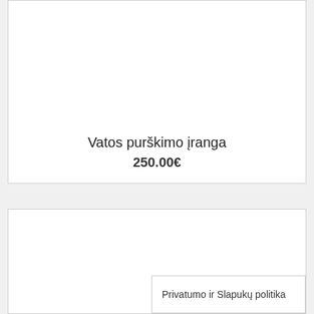[Figure (other): Product card top section with white background, no visible image content]
Vatos purškimo įranga
250.00€
[Figure (other): Product card bottom section with white background, partially visible]
Privatumo ir Slapukų politika